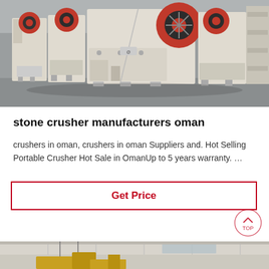[Figure (photo): Row of white industrial jaw crushers with red flywheels in a factory warehouse setting]
stone crusher manufacturers oman
crushers in oman, crushers in oman Suppliers and. Hot Selling Portable Crusher Hot Sale in OmanUp to 5 years warranty. …
[Figure (other): Get Price button with red border]
[Figure (photo): Industrial building interior with yellow construction equipment visible at bottom of image]